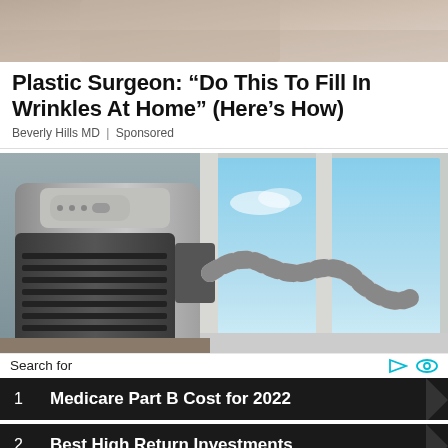[Figure (photo): Top portion of an advertisement image showing a partial view of a person (cropped), gray/beige tones]
Plastic Surgeon: “Do This To Fill In Wrinkles At Home” (Here’s How)
Beverly Hills MD | Sponsored
[Figure (photo): Photo of a portable air conditioner unit next to a window with a flexible exhaust hose, blue sky visible through window]
Search for
1   Medicare Part B Cost for 2022
2   Best High Return Investments